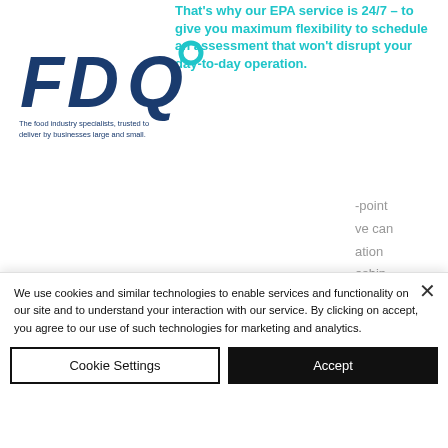[Figure (logo): FDQ logo with italic bold letters in dark navy blue and tagline text]
That's why our EPA service is 24/7 – to give you maximum flexibility to schedule an assessment that won't disrupt your day-to-day operation.
The food industry specialists, trusted to deliver by businesses large and small.
Work with us
-point
ve can
ation
eship.
akes
managing an apprenticeship programme so much simpler for everyone.
Added to that all FDQ's independent examiners are experts in their field.
We use cookies and similar technologies to enable services and functionality on our site and to understand your interaction with our service. By clicking on accept, you agree to our use of such technologies for marketing and analytics.
Cookie Settings
Accept